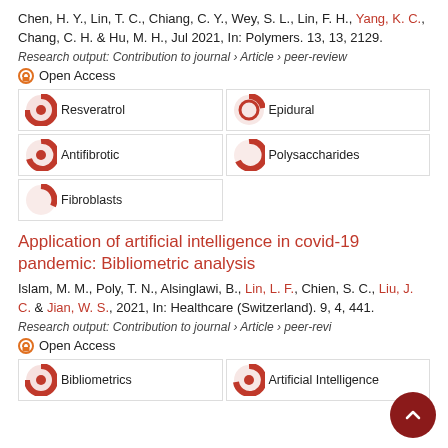Chen, H. Y., Lin, T. C., Chiang, C. Y., Wey, S. L., Lin, F. H., Yang, K. C., Chang, C. H. & Hu, M. H., Jul 2021, In: Polymers. 13, 13, 2129.
Research output: Contribution to journal › Article › peer-review
Open Access
| Resveratrol | Epidural |
| Antifibrotic | Polysaccharides |
| Fibroblasts |  |
Application of artificial intelligence in covid-19 pandemic: Bibliometric analysis
Islam, M. M., Poly, T. N., Alsinglawi, B., Lin, L. F., Chien, S. C., Liu, J. C. & Jian, W. S., 2021, In: Healthcare (Switzerland). 9, 4, 441.
Research output: Contribution to journal › Article › peer-review
Open Access
| Bibliometrics | Artificial Intelligence |